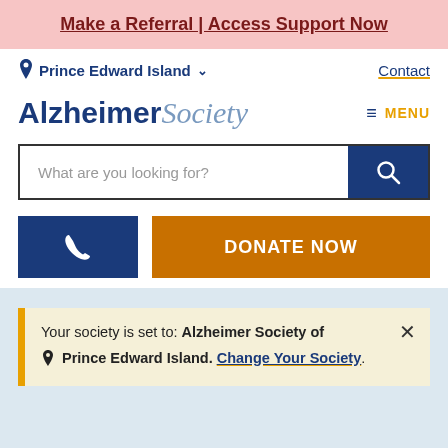Make a Referral | Access Support Now
Prince Edward Island  Contact
Alzheimer Society  MENU
What are you looking for?
[Figure (screenshot): Phone icon button (dark blue) and DONATE NOW button (orange)]
Your society is set to: Alzheimer Society of Prince Edward Island. Change Your Society.